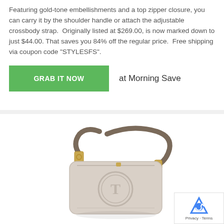Featuring gold-tone embellishments and a top zipper closure, you can carry it by the shoulder handle or attach the adjustable crossbody strap.  Originally listed at $269.00, is now marked down to just $44.00. That saves you 84% off the regular price.  Free shipping via coupon code "STYLESFS".
GRAB IT NOW   at Morning Save
[Figure (photo): A beige/taupe leather crossbody camera bag with gold-tone hardware and embossed circular logo on the front, with an adjustable strap. Appears to be a Tory Burch bag.]